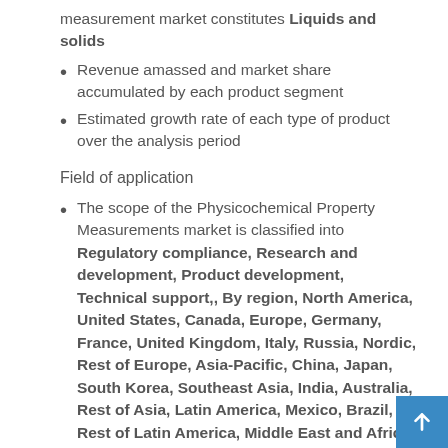measurement market constitutes Liquids and solids
Revenue amassed and market share accumulated by each product segment
Estimated growth rate of each type of product over the analysis period
Field of application
The scope of the Physicochemical Property Measurements market is classified into Regulatory compliance, Research and development, Product development, Technical support,, By region, North America, United States, Canada, Europe, Germany, France, United Kingdom, Italy, Russia, Nordic, Rest of Europe, Asia-Pacific, China, Japan, South Korea, Southeast Asia, India, Australia, Rest of Asia, Latin America, Mexico, Brazil, Rest of Latin America, Middle East and Africa, Turkey, Saudi Arabia, United Arab Emirates, Rest of MEA, By company, Intertec, i-Kinetic, Re... Sancil, Chemical Anal...